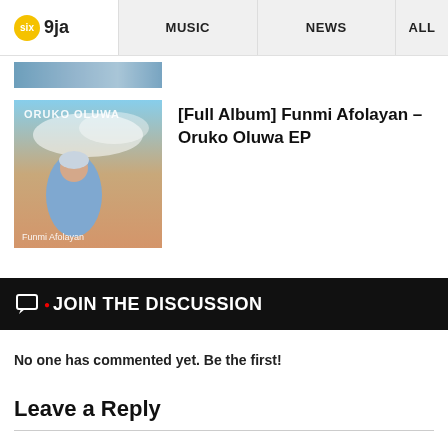Six 9ja | MUSIC | NEWS | ALL
[Figure (photo): Partial cropped image strip at top of page, showing a blue/grey background, partially visible]
[Figure (photo): Album cover for Funmi Afolayan - Oruko Oluwa EP showing a woman in blue lace outfit against a sky background with the album title text overlay]
[Full Album] Funmi Afolayan – Oruko Oluwa EP
JOIN THE DISCUSSION
No one has commented yet. Be the first!
Leave a Reply